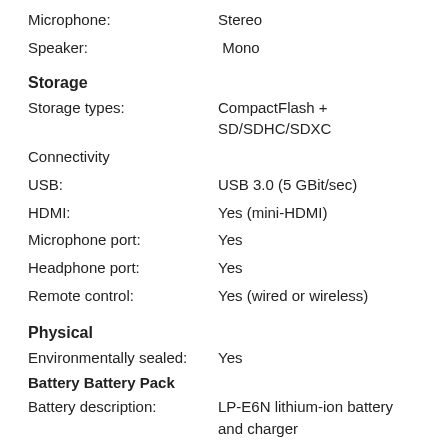Microphone: Stereo
Speaker: Mono
Storage
Storage types: CompactFlash + SD/SDHC/SDXC
Connectivity
USB: USB 3.0 (5 GBit/sec)
HDMI: Yes (mini-HDMI)
Microphone port: Yes
Headphone port: Yes
Remote control: Yes (wired or wireless)
Physical
Environmentally sealed: Yes
Battery Battery Pack
Battery description: LP-E6N lithium-ion battery and charger
Battery Life: (CIPA) 670
Weight (inc. batteries): 910 g (2.01 lb / 32.10 oz)
Dimensions: 149 x 112 x 78 mm (5.87 x 4.41 x 3.07")